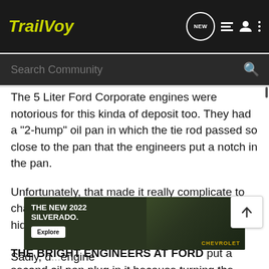TrailVoy
Search Community
The 5 Liter Ford Corporate engines were notorious for this kinda of deposit too. They had a "2-hump" oil pan in which the tie rod passed so close to the pan that the engineers put a notch in the pan.
Unfortunately, that made it really complicate to change the oil in the bump where the oil was hidden ---- so --->
THE BRIGHT ENGINEERS AT FORD put a second oil pan plug in it because turning the vehicle upside-down just to drain the oil didn't appear to be a good option - not that the customer would understand it anyway!
[Figure (screenshot): Advertisement for The New 2022 Silverado by Chevrolet with Explore button]
Sadly, d... engine